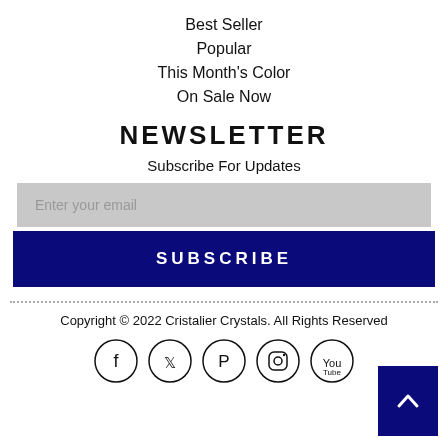Best Seller
Popular
This Month's Color
On Sale Now
NEWSLETTER
Subscribe For Updates
Enter your email
SUBSCRIBE
Copyright © 2022 Cristalier Crystals. All Rights Reserved